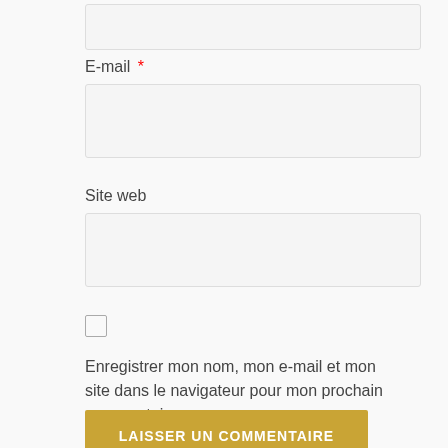[Figure (screenshot): Partial text input box at the top of the page, cut off by the page boundary]
E-mail *
[Figure (screenshot): Empty text input field for E-mail]
Site web
[Figure (screenshot): Empty text input field for Site web]
[Figure (screenshot): Unchecked checkbox]
Enregistrer mon nom, mon e-mail et mon site dans le navigateur pour mon prochain commentaire.
[Figure (screenshot): Submit button labeled LAISSER UN COMMENTAIRE with golden/mustard background]